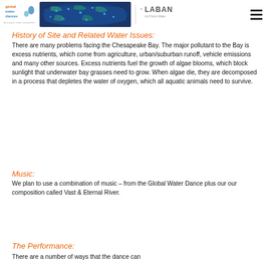[Figure (logo): Global Water Dances logo with world map image and LABAN organization logo, plus hamburger menu icon]
History of Site and Related Water Issues:
There are many problems facing the Chesapeake Bay. The major pollutant to the Bay is excess nutrients, which come from agriculture, urban/suburban runoff, vehicle emissions and many other sources. Excess nutrients fuel the growth of algae blooms, which block sunlight that underwater bay grasses need to grow. When algae die, they are decomposed in a process that depletes the water of oxygen, which all aquatic animals need to survive.
Music:
We plan to use a combination of music – from the Global Water Dance plus our our composition called Vast & Eternal River.
The Performance: